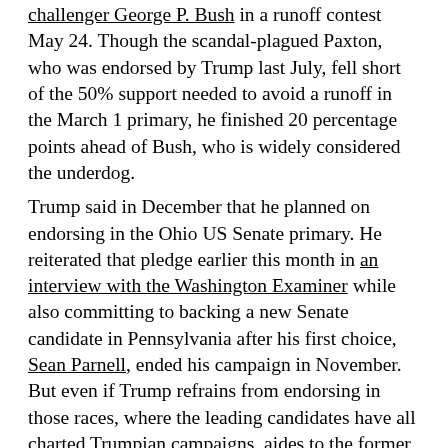challenger George P. Bush in a runoff contest May 24. Though the scandal-plagued Paxton, who was endorsed by Trump last July, fell short of the 50% support needed to avoid a runoff in the March 1 primary, he finished 20 percentage points ahead of Bush, who is widely considered the underdog.
Trump said in December that he planned on endorsing in the Ohio US Senate primary. He reiterated that pledge earlier this month in an interview with the Washington Examiner while also committing to backing a new Senate candidate in Pennsylvania after his first choice, Sean Parnell, ended his campaign in November. But even if Trump refrains from endorsing in those races, where the leading candidates have all charted Trumpian campaigns, aides to the former President also expect him to claim victory.
Longtime TV personality Mehmet Oz and former Bridgewater Associates CEO David McCormick — two of the Republicans vying for retiring Sen. Pat Toomey's seat